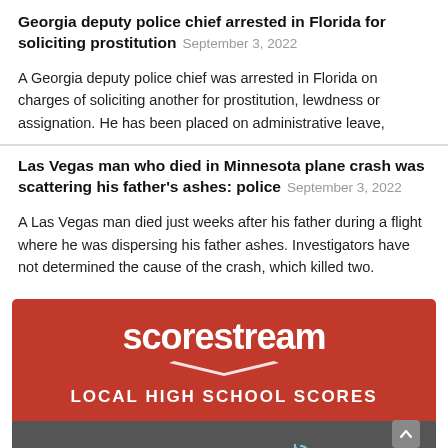Georgia deputy police chief arrested in Florida for soliciting prostitution September 3, 2022
A Georgia deputy police chief was arrested in Florida on charges of soliciting another for prostitution, lewdness or assignation. He has been placed on administrative leave,
Las Vegas man who died in Minnesota plane crash was scattering his father’s ashes: police September 3, 2022
A Las Vegas man died just weeks after his father during a flight where he was dispersing his father ashes. Investigators have not determined the cause of the crash, which killed two.
[Figure (infographic): Scorestream advertisement banner showing logo, LOCAL HIGH SCHOOL SCORES text, and a SATURDAY, SEP 3 navigation bar with left/right arrows and a quick search bar.]